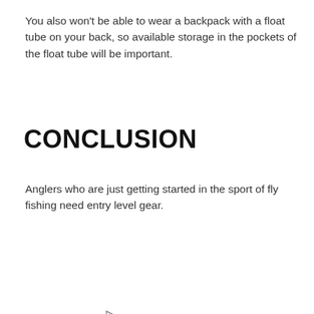You also won't be able to wear a backpack with a float tube on your back, so available storage in the pockets of the float tube will be important.
CONCLUSION
Anglers who are just getting started in the sport of fly fishing need entry level gear.
[Figure (other): Advertisement banner for Topgolf showing logo, 'Topgolf® - Family Fun' text, blue navigation arrow icon, and ad controls (play and close buttons).]